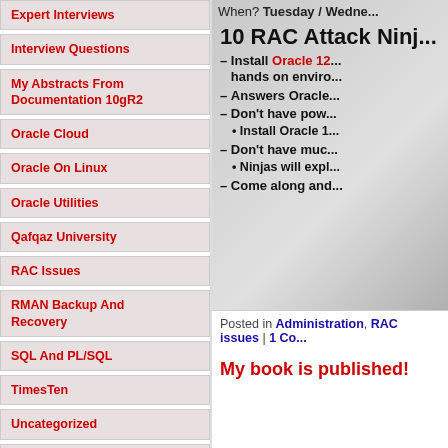Expert Interviews
Interview Questions
My Abstracts From Documentation 10gR2
Oracle Cloud
Oracle On Linux
Oracle Utilities
Qafqaz University
RAC Issues
RMAN Backup And Recovery
SQL And PL/SQL
TimesTen
Uncategorized
Video Tutorials
Archive
December 2020 (1)
February 2020 (1)
June 2019 (2)
[Figure (screenshot): Promotional image for 10 RAC Attack Ninja event with bullet points about installing Oracle 12, answers, and coming along]
Posted in Administration, RAC issues | 1 Co...
My book is published!